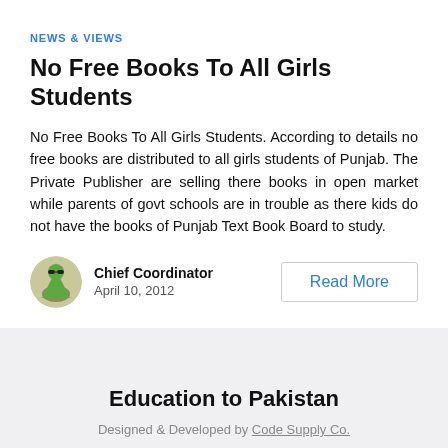NEWS & VIEWS
No Free Books To All Girls Students
No Free Books To All Girls Students. According to details no free books are distributed to all girls students of Punjab. The Private Publisher are selling there books in open market while parents of govt schools are in trouble as there kids do not have the books of Punjab Text Book Board to study.
Chief Coordinator
April 10, 2012
Read More
Education to Pakistan
Designed & Developed by Code Supply Co.